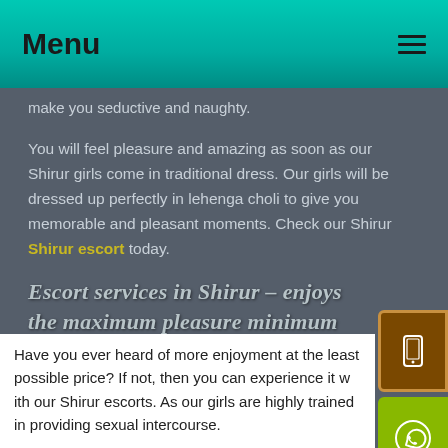Menu
make you seductive and naughty.
You will feel pleasure and amazing as soon as our Shirur girls come in traditional dress. Our girls will be dressed up perfectly in lehenga choli to give you memorable and pleasant moments. Check our Shirur Shirur escort today.
Escort services in Shirur - enjoys the maximum pleasure minimum investment
Have you ever heard of more enjoyment at the least possible price? If not, then you can experience it with our Shirur escorts. As our girls are highly trained in providing sexual intercourse.